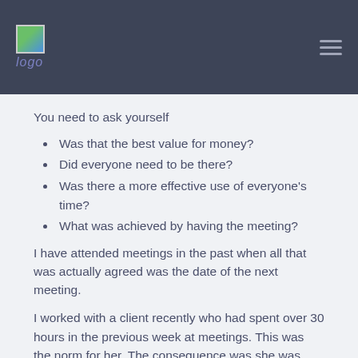logo
You need to ask yourself
Was that the best value for money?
Did everyone need to be there?
Was there a more effective use of everyone's time?
What was achieved by having the meeting?
I have attended meetings in the past when all that was actually agreed was the date of the next meeting.
I worked with a client recently who had spent over 30 hours in the previous week at meetings. This was the norm for her. The consequence was she was constantly under